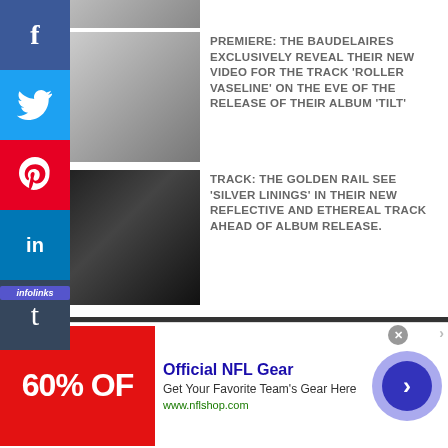[Figure (photo): Partial thumbnail image at top of page, cropped]
PREMIERE: THE BAUDELAIRES EXCLUSIVELY REVEAL THEIR NEW VIDEO FOR THE TRACK 'ROLLER VASELINE' ON THE EVE OF THE RELEASE OF THEIR ALBUM 'TILT'
[Figure (photo): Band photo thumbnail - dark, three figures]
TRACK: THE GOLDEN RAIL SEE 'SILVER LININGS' IN THEIR NEW REFLECTIVE AND ETHEREAL TRACK AHEAD OF ALBUM RELEASE.
FEATURED 'AT HOME SESSION'
[Figure (photo): Partial image of a session/performance at bottom]
[Figure (screenshot): Advertisement: Official NFL Gear, 50% OFF, Get Your Favorite Team's Here, www.nflshop.com]